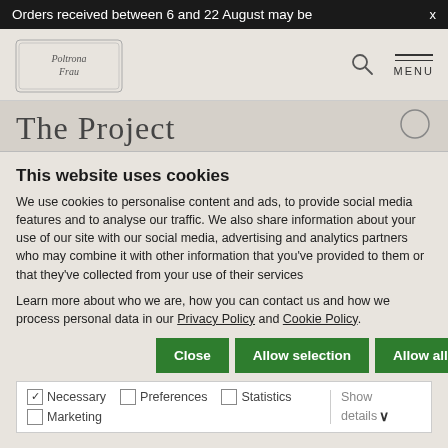Orders received between 6 and 22 August may be   x
[Figure (logo): Poltrona Frau logo with decorative border]
The Project
This website uses cookies
We use cookies to personalise content and ads, to provide social media features and to analyse our traffic. We also share information about your use of our site with our social media, advertising and analytics partners who may combine it with other information that you've provided to them or that they've collected from your use of their services
Learn more about who we are, how you can contact us and how we process personal data in our Privacy Policy and Cookie Policy.
Close   Allow selection   Allow all cookies
✓ Necessary   Preferences   Statistics   Marketing   Show details ∨